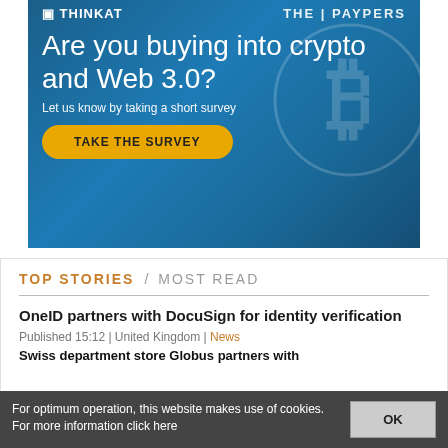[Figure (infographic): Advertisement banner with blue gradient background, crypto/Bitcoin theme. Header logos 'THINKAT' and 'THE PAYPERS'. Large white text: 'Are you buying into crypto and Web 3.0?' Subtext: 'Let us know by taking a short survey'. Yellow rounded button: 'TAKE THE SURVEY'. Bitcoin (B) symbol watermark on right side.]
TOP STORIES / MOST READ
OneID partners with DocuSign for identity verification
Published 15:12 | United Kingdom | News
Swiss department store Globus partners with
For optimum operation, this website makes use of cookies. For more information click here
OK